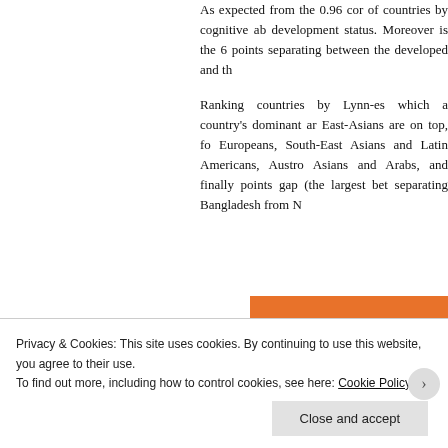As expected from the 0.96 cor of countries by cognitive ab development status. Moreover is the 6 points separating between the developed and th
Ranking countries by Lynn-es which a country's dominant ar East-Asians are on top, fo Europeans, South-East Asians and Latin Americans, Austro Asians and Arabs, and finally points gap (the largest bet separating Bangladesh from N
Privacy & Cookies: This site uses cookies. By continuing to use this website, you agree to their use.
To find out more, including how to control cookies, see here: Cookie Policy
Close and accept